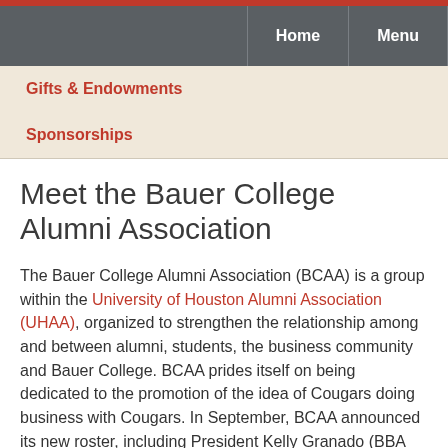Home | Menu
Gifts & Endowments
Sponsorships
Meet the Bauer College Alumni Association
The Bauer College Alumni Association (BCAA) is a group within the University of Houston Alumni Association (UHAA), organized to strengthen the relationship among and between alumni, students, the business community and Bauer College. BCAA prides itself on being dedicated to the promotion of the idea of Cougars doing business with Cougars. In September, BCAA announced its new roster, including President Kelly Granado (BBA '03, MBA '06) and President Elect Pilar Sosa (BBA '08). We talked to these leaders about what it means to be a member of the Bauer alumni family and how BCAA has maintained its presence with the college and...